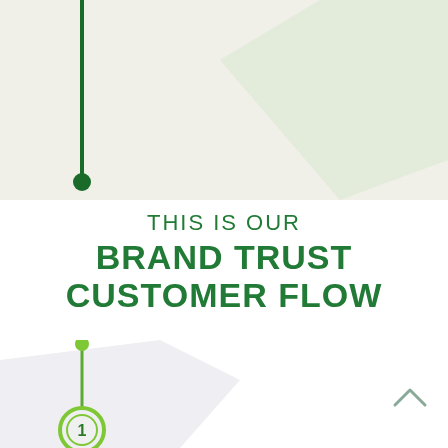[Figure (infographic): Top decorative section with light green/beige background, a dark green vertical line with a filled circle at the bottom on the left, and a light olive/green geometric diamond/pentagon shape on the upper right.]
THIS IS OUR BRAND TRUST CUSTOMER FLOW
[Figure (infographic): Bottom section with white background, a light gray geometric hexagon shape on the left, a green vertical stem with a filled circle at top and a numbered circle badge '1' at the bottom left, and a small upward chevron arrow on the right.]